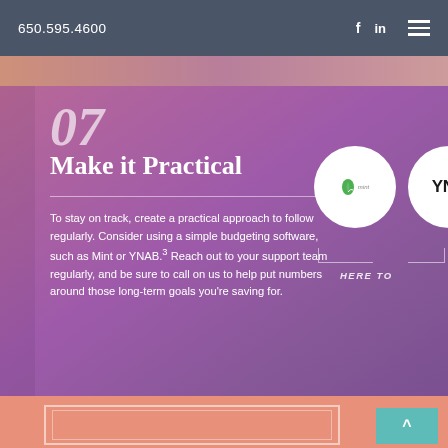650.595.4600   f  in
07
Make it Practical
To stay on track, create a practical approach to follow regularly. Consider using a simple budgeting software, such as Mint or YNAB.³ Reach out to your support team regularly, and be sure to call on us to help put numbers around those long-term goals you're saving for.
[Figure (logo): Mint logo in white circle]
[Figure (logo): YNAB logo in white circle]
HERE TO